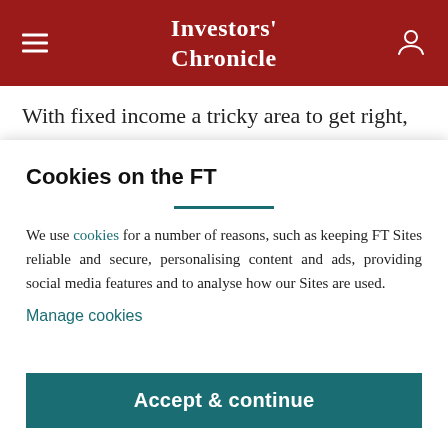Investors' Chronicle
With fixed income a tricky area to get right, we are adding a managed fund to both portfolios. The MI Twenty Four Asset Backed Fund invests in asset-
Cookies on the FT
We use cookies for a number of reasons, such as keeping FT Sites reliable and secure, personalising content and ads, providing social media features and to analyse how our Sites are used.
Manage cookies
Accept & continue